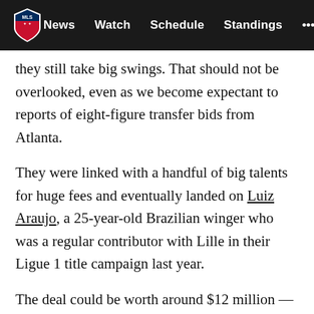MLS | News  Watch  Schedule  Standings  ...
they still take big swings. That should not be overlooked, even as we become expectant to reports of eight-figure transfer bids from Atlanta.
They were linked with a handful of big talents for huge fees and eventually landed on Luiz Araujo, a 25-year-old Brazilian winger who was a regular contributor with Lille in their Ligue 1 title campaign last year.
The deal could be worth around $12 million — sources say it is $9.5 million upfront and a potential to climb to $12 million after incentives — which one well-connected European source described to me as much more than Lille expected to get, but sometimes you have to